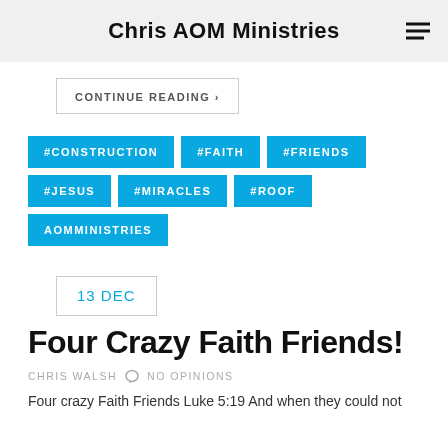Chris AOM Ministries
CONTINUE READING ›
#CONSTRUCTION
#FAITH
#FRIENDS
#JESUS
#MIRACLES
#ROOF
AOMMINISTRIES
13 DEC
Four Crazy Faith Friends!
CHRIS WALSH   NO OPINIONS
Four crazy Faith Friends Luke 5:19 And when they could not